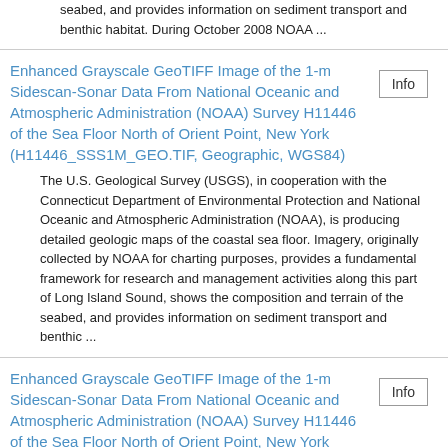seabed, and provides information on sediment transport and benthic habitat. During October 2008 NOAA ...
Enhanced Grayscale GeoTIFF Image of the 1-m Sidescan-Sonar Data From National Oceanic and Atmospheric Administration (NOAA) Survey H11446 of the Sea Floor North of Orient Point, New York (H11446_SSS1M_GEO.TIF, Geographic, WGS84)
The U.S. Geological Survey (USGS), in cooperation with the Connecticut Department of Environmental Protection and National Oceanic and Atmospheric Administration (NOAA), is producing detailed geologic maps of the coastal sea floor. Imagery, originally collected by NOAA for charting purposes, provides a fundamental framework for research and management activities along this part of Long Island Sound, shows the composition and terrain of the seabed, and provides information on sediment transport and benthic ...
Enhanced Grayscale GeoTIFF Image of the 1-m Sidescan-Sonar Data From National Oceanic and Atmospheric Administration (NOAA) Survey H11446 of the Sea Floor North of Orient Point, New York (H11446_SSS1M_UTM.TIF, UTM18, NAD83)
The U.S. Geological Survey (USGS), in cooperation with the Connecticut Department of Environmental Protection and